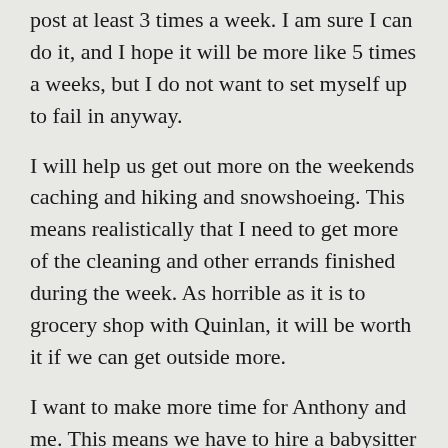post at least 3 times a week.  I am sure I can do it, and I hope it will be more like 5 times a weeks, but I do not want to set myself up to fail in anyway.
I will help us get out more on the weekends caching and hiking and snowshoeing.  This means realistically that I need to get more of the cleaning and other errands finished during the week.  As horrible as it is to grocery shop with Quinlan, it will be worth it if we can get outside more.
I want to make more time for Anthony and me.  This means we have to hire a babysitter at least once a month and actually get out to go to a play or a movie or something.  We need to have some time to talk without a small voice interrupting us all the time.
I want to learn to take better pictures.  We have a nice camera (the rebel) and we need to be using it more.  I